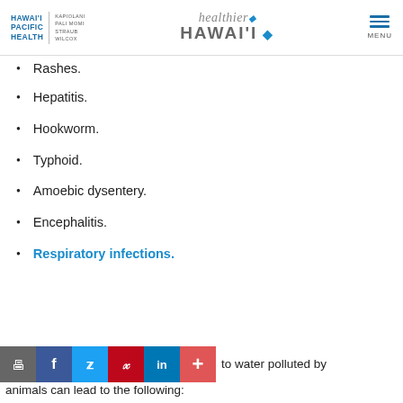HAWAI'I PACIFIC HEALTH | KAPIOLANI PALI MOMI STRAUB WILCOX | healthier HAWAI'I | MENU
Rashes.
Hepatitis.
Hookworm.
Typhoid.
Amoebic dysentery.
Encephalitis.
Respiratory infections.
exposure to water polluted by animals can lead to the following: